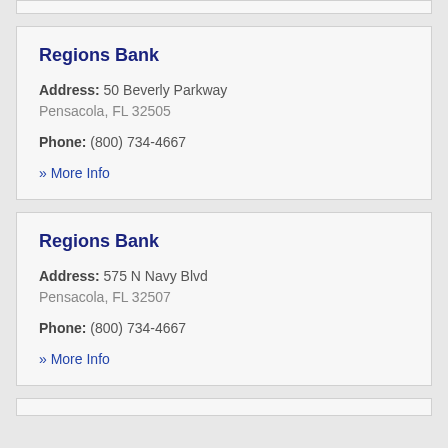Regions Bank
Address: 50 Beverly Parkway
Pensacola, FL 32505
Phone: (800) 734-4667
» More Info
Regions Bank
Address: 575 N Navy Blvd
Pensacola, FL 32507
Phone: (800) 734-4667
» More Info